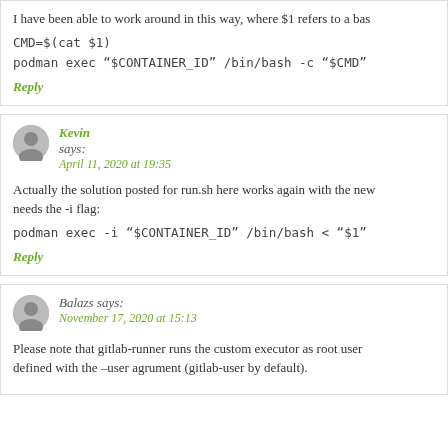I have been able to work around in this way, where $1 refers to a bas
CMD=$(cat $1)
podman exec "$CONTAINER_ID" /bin/bash -c "$CMD"
Reply
Kevin says: April 11, 2020 at 19:35
Actually the solution posted for run.sh here works again with the new needs the -i flag:
podman exec -i "$CONTAINER_ID" /bin/bash < "$1"
Reply
Balazs says: November 17, 2020 at 15:13
Please note that gitlab-runner runs the custom executor as root user defined with the –user agrument (gitlab-user by default).